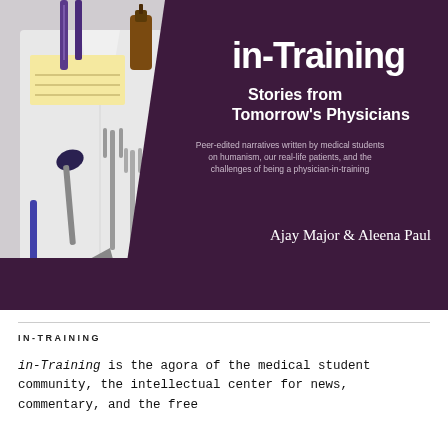[Figure (photo): Book cover for 'in-Training: Stories from Tomorrow's Physicians' edited by Ajay Major & Aleena Paul. The left half shows a photo of medical tools and instruments laid out on a white lab coat. The right half has a dark purple background with the book title, subtitle, description, and author names in white text.]
IN-TRAINING
in-Training is the agora of the medical student community, the intellectual center for news, commentary, and the free